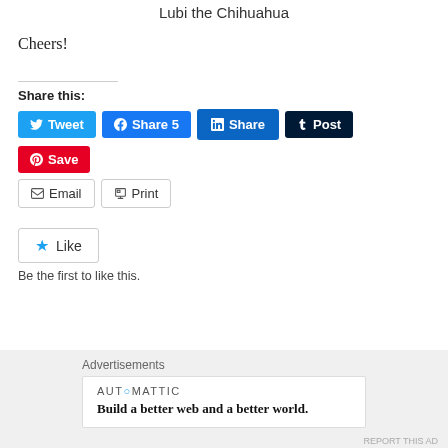Lubi the Chihuahua
Cheers!
Share this:
[Figure (infographic): Social share buttons: Tweet, Share 5 (Facebook), Share (LinkedIn), Post (Tumblr), Save (Pinterest), Email, Print]
[Figure (infographic): Like button with star icon and text: Be the first to like this.]
Be the first to like this.
[Figure (infographic): Advertisement box: AUTOMATTIC - Build a better web and a better world.]